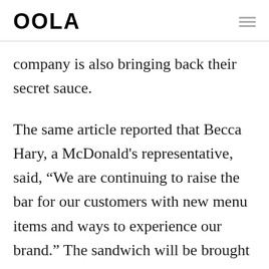OOLA
company is also bringing back their secret sauce.
The same article reported that Becca Hary, a McDonald's representative, said, “We are continuing to raise the bar for our customers with new menu items and ways to experience our brand.” The sandwich will be brought to seven locations throughout Texas and Oklahoma.